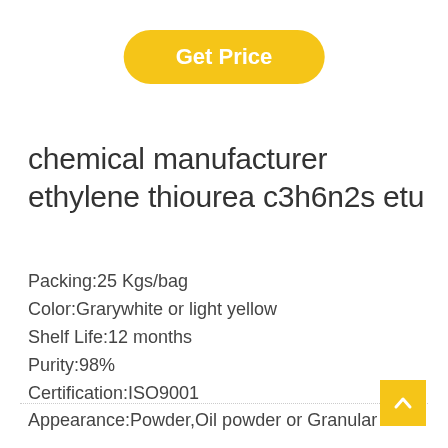Get Price
chemical manufacturer ethylene thiourea c3h6n2s etu
Packing:25 Kgs/bag
Color:Grarywhite or light yellow
Shelf Life:12 months
Purity:98%
Certification:ISO9001
Appearance:Powder,Oil powder or Granular